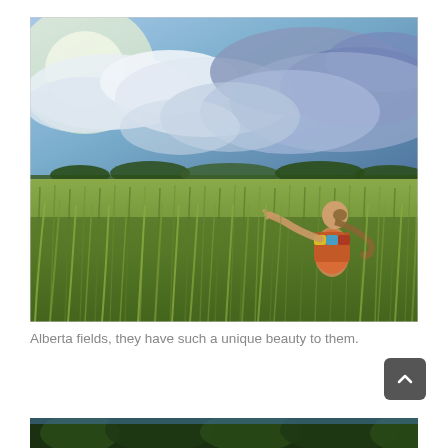[Figure (photo): A girl standing in a large green wheat/barley field under a dramatic cloudy sky with sunlight breaking through on the left. The girl has long hair in a ponytail, wearing a colorful top, and has her arm extended reaching into the grain stalks. Alberta, Canada landscape.]
Alberta fields, they have such a unique beauty to them.
[Figure (photo): Partial view of another photo at the bottom of the page, showing what appears to be a forested/wooded scene.]